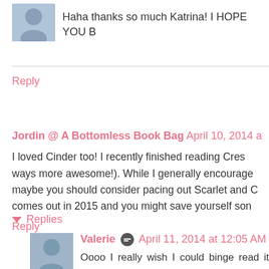Haha thanks so much Katrina! I HOPE YOU B
Reply
Jordin @ A Bottomless Book Bag  April 10, 2014 a
I loved Cinder too! I recently finished reading Cres ways more awesome!). While I generally encourage maybe you should consider pacing out Scarlet and C comes out in 2015 and you might save yourself son
Reply
Replies
Valerie  April 11, 2014 at 12:05 AM
Oooo I really wish I could binge read it even even have the second book right now, so anyways. Either way I'm going to be antsy